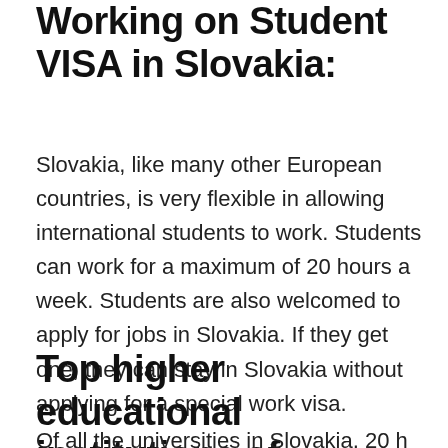Working on Student VISA in Slovakia:
Slovakia, like many other European countries, is very flexible in allowing international students to work. Students can work for a maximum of 20 hours a week. Students are also welcomed to apply for jobs in Slovakia. If they get one, they can stay in Slovakia without applying for a special work visa.
Top higher educational institutions of Slovakia:
Of all the universities in Slovakia, 20 h...